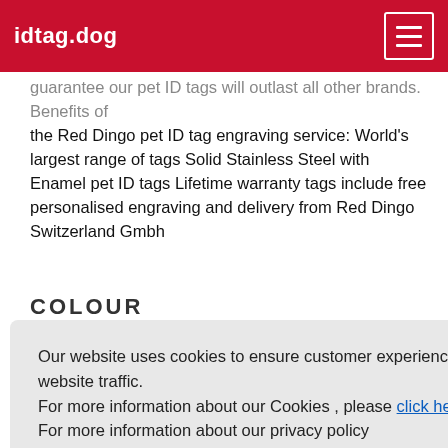idtag.dog
guarantee our pet ID tags will outlast all other brands. Benefits of the Red Dingo pet ID tag engraving service: World's largest range of tags Solid Stainless Steel with Enamel pet ID tags Lifetime warranty tags include free personalised engraving and delivery from Red Dingo Switzerland Gmbh
COLOUR
Our website uses cookies to ensure customer experience and to monitor website traffic.
For more information about our Cookies , please click here.
For more information about our privacy policy click here
reject
I accept
(0.79inch)
(0.94inch)
(0.79inch)